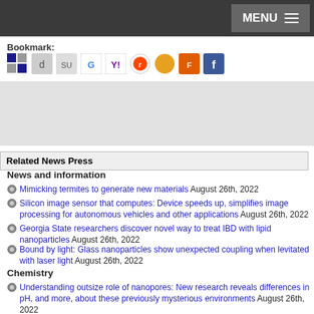MENU
Bookmark:
[Figure (screenshot): Row of social bookmarking icons: del.icio.us, Digg, StumbleUpon, Google, Yahoo, Reddit, Newsvine, Fark, Facebook]
[Figure (other): Advertisement placeholder area]
Related News Press
News and information
Mimicking termites to generate new materials August 26th, 2022
Silicon image sensor that computes: Device speeds up, simplifies image processing for autonomous vehicles and other applications August 26th, 2022
Georgia State researchers discover novel way to treat IBD with lipid nanoparticles August 26th, 2022
Bound by light: Glass nanoparticles show unexpected coupling when levitated with laser light August 26th, 2022
Chemistry
Understanding outsize role of nanopores: New research reveals differences in pH, and more, about these previously mysterious environments August 26th, 2022
Biology's hardest working pigments and 'MOFs' might just save the climate: A range of processes that currently depend on fossil fuels but are really hard to electrify will depend on the development of genuinely clean fuels, and for that to happen, much more efficient catalysts wi July 22nd, 2022
First electric nanomotor made from DNA material: Synthetic rotary motors, at the